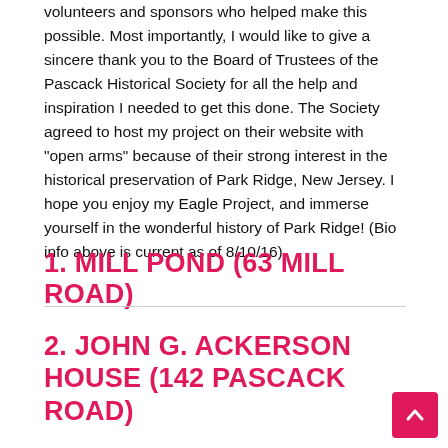volunteers and sponsors who helped make this possible. Most importantly, I would like to give a sincere thank you to the Board of Trustees of the Pascack Historical Society for all the help and inspiration I needed to get this done. The Society agreed to host my project on their website with "open arms" because of their strong interest in the historical preservation of Park Ridge, New Jersey. I hope you enjoy my Eagle Project, and immerse yourself in the wonderful history of Park Ridge! (Bio info above is current as of 8/10/16)
1. MILL POND (63 MILL ROAD)
2. JOHN G. ACKERSON HOUSE (142 PASCACK ROAD)